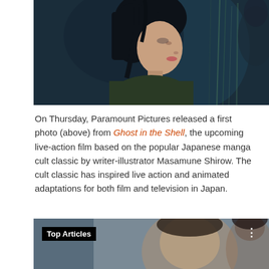[Figure (photo): A woman with short black hair in profile/three-quarter view against a dark teal/blue-green background, from the Ghost in the Shell film.]
On Thursday, Paramount Pictures released a first photo (above) from Ghost in the Shell, the upcoming live-action film based on the popular Japanese manga cult classic by writer-illustrator Masamune Shirow. The cult classic has inspired live action and animated adaptations for both film and television in Japan.
[Figure (screenshot): A screenshot of a video player showing a man's face with a 'Top Articles' label overlay and a progress bar at the top.]